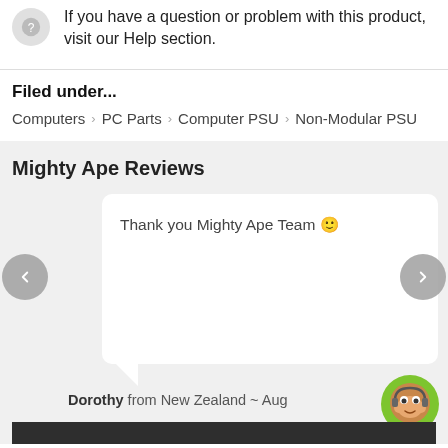If you have a question or problem with this product, visit our Help section.
Filed under...
Computers > PC Parts > Computer PSU > Non-Modular PSU
Mighty Ape Reviews
Thank you Mighty Ape Team 🙂
Dorothy from New Zealand ~ Aug